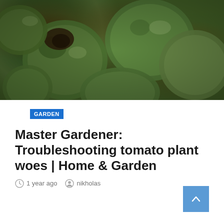[Figure (photo): Close-up photo of green tomatoes with blossom end rot (dark spots on the tops), showing multiple tomatoes clustered together]
GARDEN
Master Gardener: Troubleshooting tomato plant woes | Home & Garden
1 year ago   nikholas
[Figure (other): Empty white content box with a blue back-to-top arrow button in the bottom right corner]